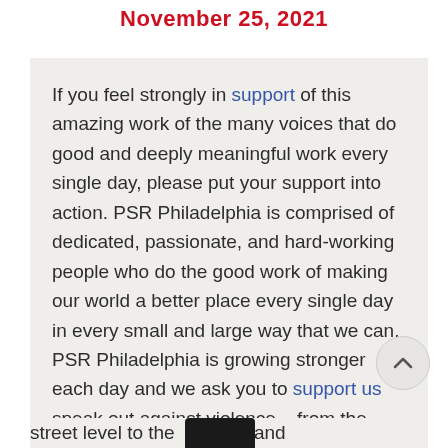November 25, 2021
If you feel strongly in support of this amazing work of the many voices that do good and deeply meaningful work every single day, please put your support into action. PSR Philadelphia is comprised of dedicated, passionate, and hard-working people who do the good work of making our world a better place every single day in every small and large way that we can. PSR Philadelphia is growing stronger each day and we ask you to support us speak out against violence – from the street level to the… and